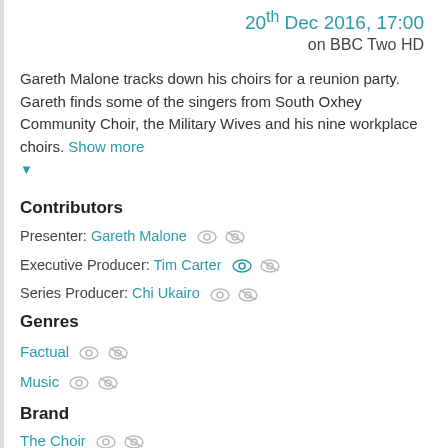20th Dec 2016, 17:00 on BBC Two HD
Gareth Malone tracks down his choirs for a reunion party. Gareth finds some of the singers from South Oxhey Community Choir, the Military Wives and his nine workplace choirs. Show more
Contributors
Presenter: Gareth Malone
Executive Producer: Tim Carter
Series Producer: Chi Ukairo
Genres
Factual
Music
Brand
The Choir